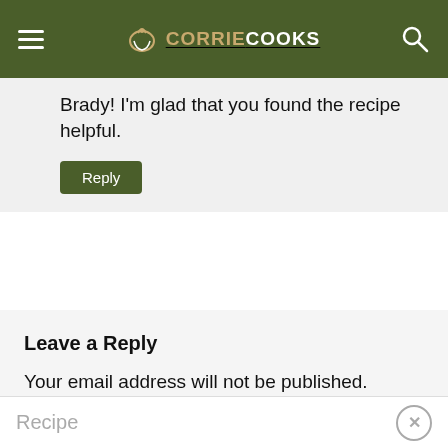CORRIE COOKS
Brady! I'm glad that you found the recipe helpful.
Reply
Leave a Reply
Your email address will not be published. Required fields are marked *
Recipe